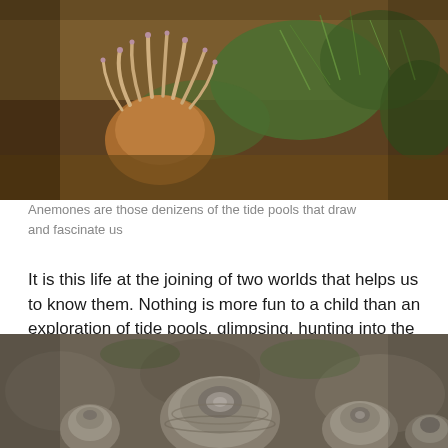[Figure (photo): Close-up photograph of a sea anemone with tentacles extended, surrounded by green algae and marine organisms on rocks in a tide pool.]
Anemones are those denizens of the tide pools that draw and fascinate us
It is this life at the joining of two worlds that helps us to know them. Nothing is more fun to a child than an exploration of tide pools, glimpsing, hunting into the unknown. And little returns an adult to that child hood state than peeking into these windows to life in the depths.
[Figure (photo): Close-up photograph of barnacles attached to rocks in a tide pool, showing circular openings on top of the barnacle shells.]